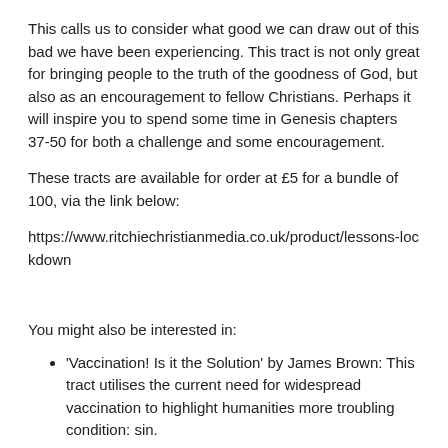This calls us to consider what good we can draw out of this bad we have been experiencing. This tract is not only great for bringing people to the truth of the goodness of God, but also as an encouragement to fellow Christians. Perhaps it will inspire you to spend some time in Genesis chapters 37-50 for both a challenge and some encouragement.
These tracts are available for order at £5 for a bundle of 100, via the link below:
https://www.ritchiechristianmedia.co.uk/product/lessons-lockdown
You might also be interested in:
'Vaccination! Is it the Solution' by James Brown: This tract utilises the current need for widespread vaccination to highlight humanities more troubling condition: sin.
'God and the Pandemic' by Tom Wright: Considers a reaction